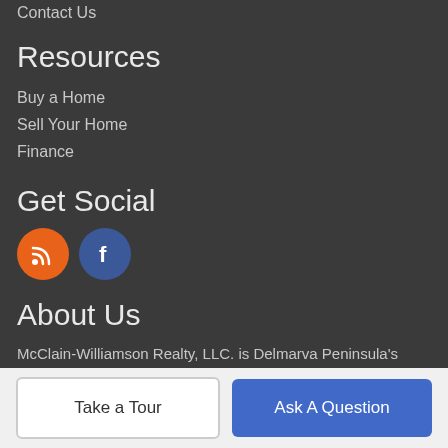Contact Us
Resources
Buy a Home
Sell Your Home
Finance
Get Social
[Figure (illustration): RSS feed icon (orange circle) and Facebook icon (blue circle)]
About Us
McClain-Williamson Realty, LLC. is Delmarva Peninsula's most innovative real estate team.
McClain-Williamson Realty, LLC.
47 Main St. East New Market, MD 21631